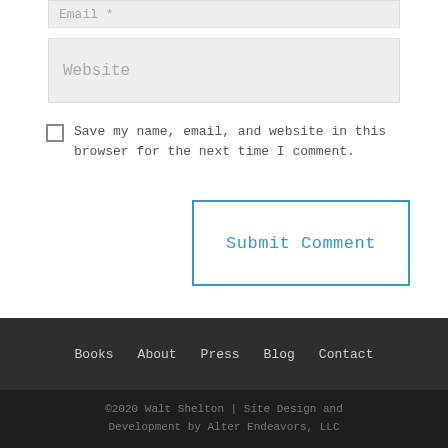Email *
Website
Save my name, email, and website in this browser for the next time I comment.
Submit Comment
Books   About   Press   Blog   Contact
©2020 Walt Shelton | Site Design and Development by Alter Endeavors, LLC